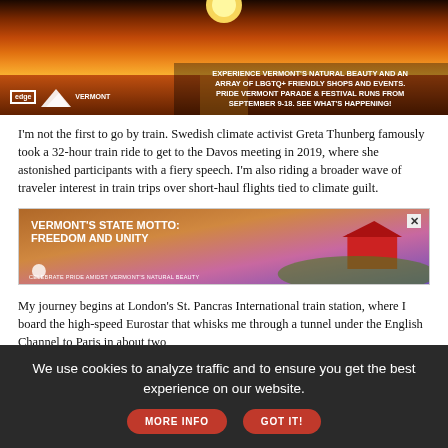[Figure (photo): Advertisement banner for Edge Vermont showing a sunset over water with text: EXPERIENCE VERMONT'S NATURAL BEAUTY AND AN ARRAY OF LBGTQ+ FRIENDLY SHOPS AND EVENTS. PRIDE VERMONT PARADE & FESTIVAL RUNS FROM SEPTEMBER 9-18. SEE WHAT'S HAPPENING!]
I'm not the first to go by train. Swedish climate activist Greta Thunberg famously took a 32-hour train ride to get to the Davos meeting in 2019, where she astonished participants with a fiery speech. I'm also riding a broader wave of traveler interest in train trips over short-haul flights tied to climate guilt.
[Figure (photo): Advertisement banner: VERMONT'S STATE MOTTO: FREEDOM AND UNITY. CELEBRATE PRIDE AMIDST VERMONT'S NATURAL BEAUTY. Shows a red barn on a hillside. Has an X close button.]
My journey begins at London's St. Pancras International train station, where I board the high-speed Eurostar that whisks me through a tunnel under the English Channel to Paris in about two
We use cookies to analyze traffic and to ensure you get the best experience on our website.
MORE INFO
GOT IT!